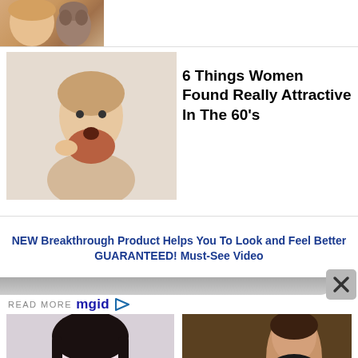[Figure (photo): Partial view of article thumbnail showing a woman and a dog, cut off at top of page]
[Figure (photo): Photo of a man with a decorative beard pulling at it, shirtless, against white background]
6 Things Women Found Really Attractive In The 60's
NEW Breakthrough Product Helps You To Look and Feel Better GUARANTEED! Must-See Video
READ MORE mgid
[Figure (photo): Photo of an Asian woman with long dark hair and red lipstick against light background]
Top 9 Predicted Haircut Trends Of 2020
[Figure (photo): Photo of Jennifer Lopez in dark clothing reclining on a couch]
She's Not Shy About Sharing - Jennifer Lopez's Body Hacks